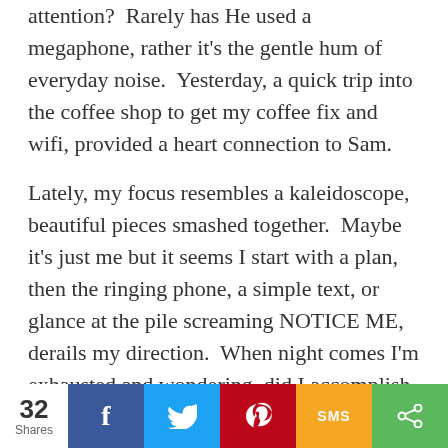attention?  Rarely has He used a megaphone, rather it's the gentle hum of everyday noise.  Yesterday, a quick trip into the coffee shop to get my coffee fix and wifi, provided a heart connection to Sam.
Lately, my focus resembles a kaleidoscope, beautiful pieces smashed together.  Maybe it's just me but it seems I start with a plan, then the ringing phone, a simple text, or glance at the pile screaming NOTICE ME, derails my direction.  When night comes I'm exhausted and wondering, did I accomplish anything important?
Can I be gut honest with you? Sometimes I
32 Shares | Facebook | Twitter | Pinterest | SMS | Share